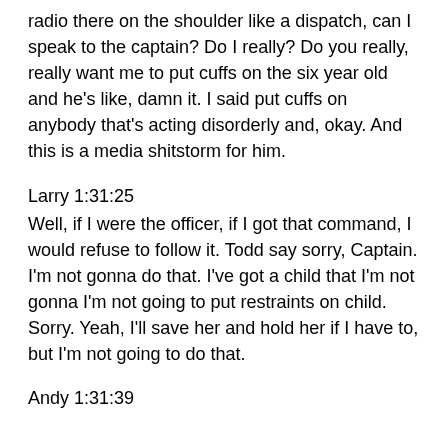radio there on the shoulder like a dispatch, can I speak to the captain? Do I really? Do you really, really want me to put cuffs on the six year old and he's like, damn it. I said put cuffs on anybody that's acting disorderly and, okay. And this is a media shitstorm for him.
Larry 1:31:25
Well, if I were the officer, if I got that command, I would refuse to follow it. Todd say sorry, Captain. I'm not gonna do that. I've got a child that I'm not gonna I'm not going to put restraints on child. Sorry. Yeah, I'll save her and hold her if I have to, but I'm not going to do that.
Andy 1:31:39